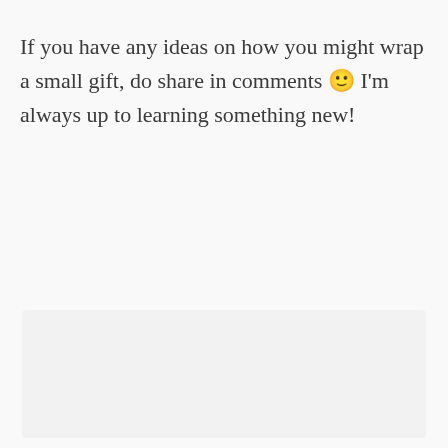If you have any ideas on how you might wrap a small gift, do share in comments 🙂 I'm always up to learning something new!